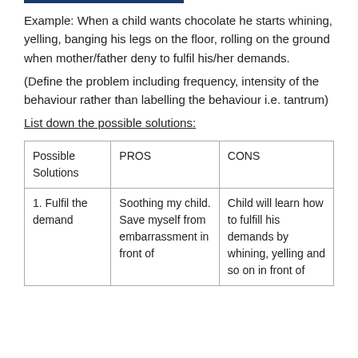Example: When a child wants chocolate he starts whining, yelling, banging his legs on the floor, rolling on the ground when mother/father deny to fulfil his/her demands.
(Define the problem including frequency, intensity of the behaviour rather than labelling the behaviour i.e. tantrum)
List down the possible solutions:
| Possible Solutions | PROS | CONS |
| --- | --- | --- |
| 1. Fulfil the demand | Soothing my child. Save myself from embarrassment in front of | Child will learn how to fulfill his demands by whining, yelling and so on in front of |